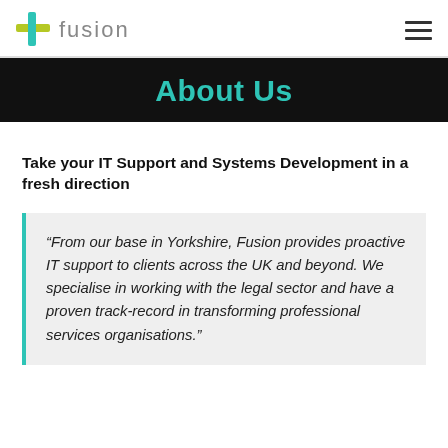fusion
About Us
Take your IT Support and Systems Development in a fresh direction
“From our base in Yorkshire, Fusion provides proactive IT support to clients across the UK and beyond. We specialise in working with the legal sector and have a proven track-record in transforming professional services organisations.”